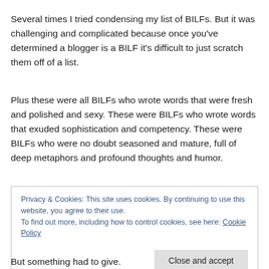Several times I tried condensing my list of BILFs. But it was challenging and complicated because once you've determined a blogger is a BILF it's difficult to just scratch them off of a list.
Plus these were all BILFs who wrote words that were fresh and polished and sexy. These were BILFs who wrote words that exuded sophistication and competency. These were BILFs who were no doubt seasoned and mature, full of deep metaphors and profound thoughts and humor.
Privacy & Cookies: This site uses cookies. By continuing to use this website, you agree to their use.
To find out more, including how to control cookies, see here: Cookie Policy
But something had to give.